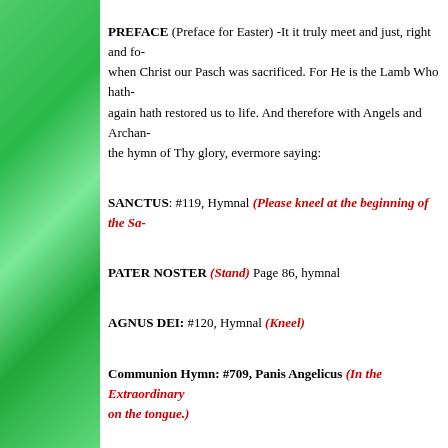PREFACE (Preface for Easter) -It it truly meet and just, right and fo... when Christ our Pasch was sacrificed. For He is the Lamb Who hath... again hath restored us to life. And therefore with Angels and Archan... the hymn of Thy glory, evermore saying:
SANCTUS: #119, Hymnal (Please kneel at the beginning of the Sa...
PATER NOSTER (Stand) Page 86, hymnal
AGNUS DEI: #120, Hymnal (Kneel)
Communion Hymn: #709, Panis Angelicus (In the Extraordinary... on the tongue.)